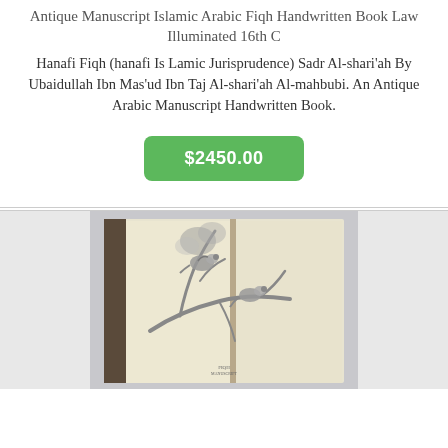Antique Manuscript Islamic Arabic Fiqh Handwritten Book Law Illuminated 16th C
Hanafi Fiqh (hanafi Is Lamic Jurisprudence) Sadr Al-shari'ah By Ubaidullah Ibn Mas'ud Ibn Taj Al-shari'ah Al-mahbubi. An Antique Arabic Manuscript Handwritten Book.
$2450.00
[Figure (photo): Open antique Arabic manuscript book showing handwritten pages with an ink illustration of birds on tree branches]